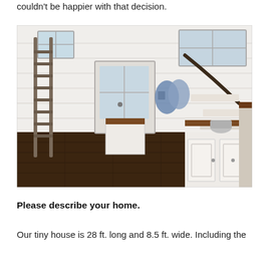couldn't be happier with that decision.
[Figure (photo): Interior of a tiny house showing white shiplap walls, a loft ladder on the left, a glass-panel front door in the center, coat hooks with jackets, built-in cabinets and countertops under a staircase on the right, and dark hardwood floors.]
Please describe your home.
Our tiny house is 28 ft. long and 8.5 ft. wide. Including the